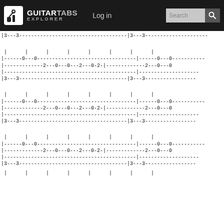GUITARTABS EXPLORER  Log in  Search
|3---3------------------------------------|3---3-----------------------
|       |       |       |       |       |       |       |
|------0---0----------------------------------|------0---0-----------
|-------------2---0---0---2---0-2-|-------------2---0---0
|---------------------------------------------|-------------------------
|3---3------------------------------------|3---3-----------------------
|       |       |       |       |       |       |       |
|------0---0----------------------------------|------0---0-----------
|-------------2---0---0---2---0-2-|-------------2---0---0
|---------------------------------------------|-------------------------
|3---3------------------------------------|3---3-----------------------
|       |       |       |       |       |       |       |
|------0---0----------------------------------|------0---0-----------
|-------------2---0---0---2---0-2-|-------------2---0---0
|---------------------------------------------|-------------------------
|3---3------------------------------------|3---3-----------------------
|       |       |       |       |       |       |       |